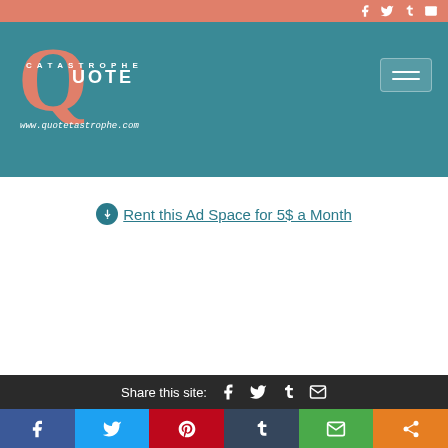Top bar with social icons (Facebook, Twitter, Tumblr, Email)
[Figure (logo): Quotastrophe logo with large orange Q, teal background, text QUOTE and www.quotetastrophe.com]
⬇ Rent this Ad Space for 5$ a Month
Share this site: [Facebook] [Twitter] [Tumblr] [Email]
Social share buttons: Facebook, Twitter, Pinterest, Tumblr, Email, Share